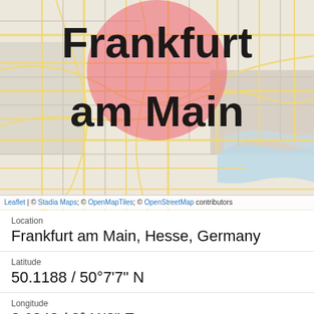[Figure (map): Map of Frankfurt am Main, Germany, showing city streets and a large pink/red circle overlay centered on the city name label. Map tiles from Stadia Maps / OpenMapTiles / OpenStreetMap. The city name 'Frankfurt am Main' is displayed in large black bold text over the map.]
Leaflet | © Stadia Maps; © OpenMapTiles; © OpenStreetMap contributors
Location
Frankfurt am Main, Hesse, Germany
Latitude
50.1188 / 50°7'7" N
Longitude
8.6843 / 8°41'3" E
Timezone
Europe/Berlin
Local Time
2022-08-20 11:38:52+02:00